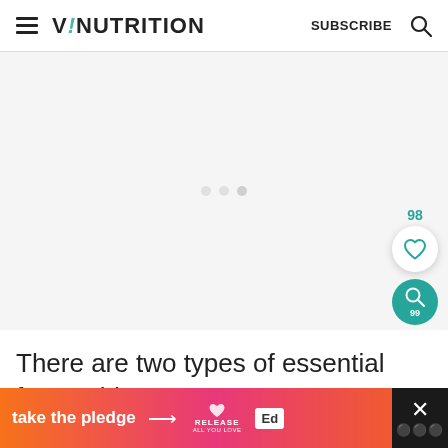VINUTRITION   SUBSCRIBE
[Figure (other): Advertisement placeholder area with three small grey dots centered, showing a loading/blank ad unit]
[Figure (infographic): Like/save widget showing 98 likes with heart icon in white circle, and teal search/pin circular button below]
There are two types of essential fatty acids:
[Figure (infographic): Bottom banner ad: orange-to-pink gradient with 'take the pledge' text, arrow, RELEASE logo, Ed logo, and dark close button with X]